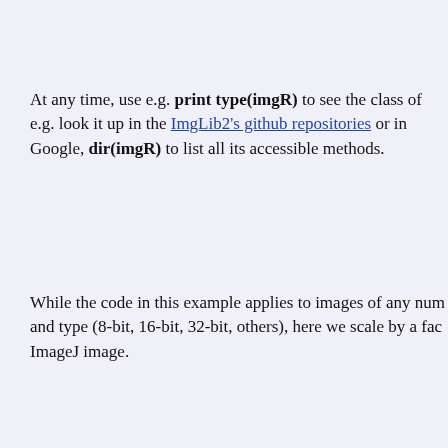At any time, use e.g. print type(imgR) to see the class of e.g. look it up in the ImgLib2's github repositories or in Google, dir(imgR) to list all its accessible methods.
While the code in this example applies to images of any num and type (8-bit, 16-bit, 32-bit, others), here we scale by a fac ImageJ image.
The resulting ImagePlus can be saved using ImageJ's FileSa ImageJ image.
Intermezzo: iterate n-dimensional image corners with des generators
In the example below, we'll needed to compute and iterate ov